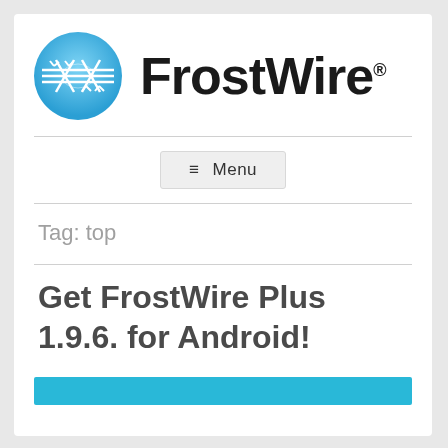[Figure (logo): FrostWire logo: blue circle with white barbed wire graphic, next to bold black FrostWire text with registered trademark symbol]
≡ Menu
Tag: top
Get FrostWire Plus 1.9.6. for Android!
[Figure (other): Blue banner/image bar at bottom of page]